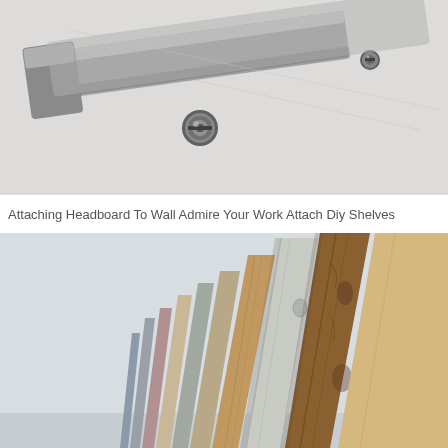[Figure (photo): Close-up photo of a metal hinge bracket mounted on a white wall, with screws visible. The bracket appears to be a wall-mounting hardware piece for attaching a headboard or shelf.]
Attaching Headboard To Wall Admire Your Work Attach Diy Shelves
[Figure (photo): Photo of multiple wooden planks or boards of varying wood tones (light, grey, brown, and natural wood grain) leaning against a white wall at a perspective angle, showing a DIY pallet wood headboard or wall art arrangement.]